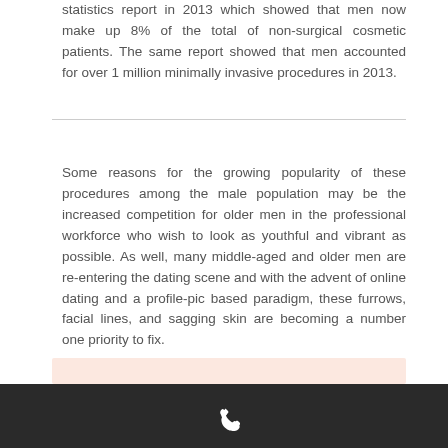statistics report in 2013 which showed that men now make up 8% of the total of non-surgical cosmetic patients. The same report showed that men accounted for over 1 million minimally invasive procedures in 2013.
Some reasons for the growing popularity of these procedures among the male population may be the increased competition for older men in the professional workforce who wish to look as youthful and vibrant as possible. As well, many middle-aged and older men are re-entering the dating scene and with the advent of online dating and a profile-pic based paradigm, these furrows, facial lines, and sagging skin are becoming a number one priority to fix.
[Figure (other): Peach/salmon colored box at bottom of page, partially visible]
Phone icon (call button) on dark footer bar